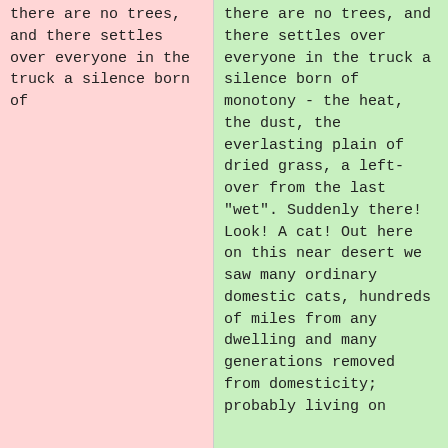there are no trees, and there settles over everyone in the truck a silence born of
there are no trees, and there settles over everyone in the truck a silence born of monotony - the heat, the dust, the everlasting plain of dried grass, a left-over from the last "wet". Suddenly there! Look! A cat! Out here on this near desert we saw many ordinary domestic cats, hundreds of miles from any dwelling and many generations removed from domesticity; probably living on